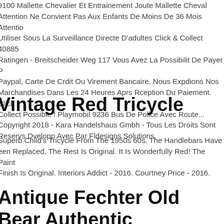9100 Mallette Chevalier Et Entrainement Joute Mallette Cheval Attention Ne Convient Pas Aux Enfants De Moins De 36 Mois Attention Utiliser Sous La Surveillance Directe D'adultes Click & Collect 40885 Ratingen - Breitscheider Weg 117 Vous Avez La Possibilit De Payer Par Paypal, Carte De Crdit Ou Virement Bancaire. Nous Expdions Nos Marchandises Dans Les 24 Heures Aprs Rception Du Paiement. Click Collect Possible ! Playmobil 9236 Bus De Police Avec Route... Copyright 2018 - Kara Handelshaus Gmbh - Tous Les Droits Sont Reservs Dvelopp Avec Par Fldesigns Solutions.
Vintage Red Tricycle
Superb Child's Tricycle From The 1950s 60s. The Handlebars Have Been Replaced, The Rest Is Original. It Is Wonderfully Red! The Paint Finish Is Original. Interiors Addict - 2016. Courtney Price - 2016.
Antique Fechter Old Bear Authentic Austria 12 Inch 1970s Rare